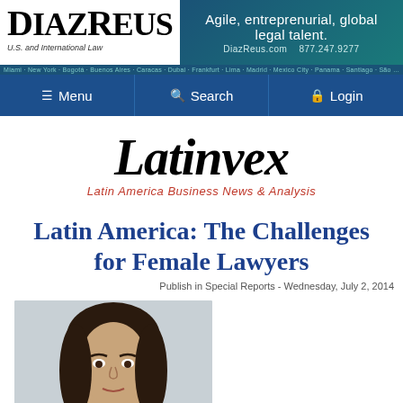[Figure (logo): DiazReus U.S. and International Law logo with tagline 'Agile, entreprenurial, global legal talent.' and contact DiazReus.com 877.247.9277, offices bar listing cities]
[Figure (screenshot): Navigation bar with Menu, Search, and Login buttons on dark blue background]
[Figure (logo): Latinvex logo in large italic serif font with subtitle 'Latin America Business News & Analysis' in red italic]
Latin America: The Challenges for Female Lawyers
Publish in Special Reports - Wednesday, July 2, 2014
[Figure (photo): Headshot photo of a woman with long dark hair, partial view cropped at bottom of page]